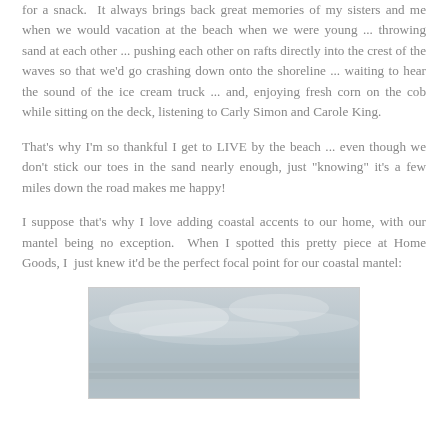for a snack.  It always brings back great memories of my sisters and me when we would vacation at the beach when we were young ... throwing sand at each other ... pushing each other on rafts directly into the crest of the waves so that we'd go crashing down onto the shoreline ... waiting to hear the sound of the ice cream truck ... and, enjoying fresh corn on the cob while sitting on the deck, listening to Carly Simon and Carole King.
That's why I'm so thankful I get to LIVE by the beach ... even though we don't stick our toes in the sand nearly enough, just "knowing" it's a few miles down the road makes me happy!
I suppose that's why I love adding coastal accents to our home, with our mantel being no exception.  When I spotted this pretty piece at Home Goods, I  just knew it'd be the perfect focal point for our coastal mantel:
[Figure (photo): A coastal/beach scene photograph showing a cloudy sky over what appears to be water or beach, with muted blue-gray tones]